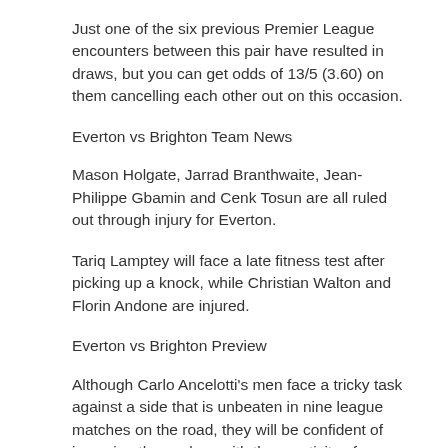Just one of the six previous Premier League encounters between this pair have resulted in draws, but you can get odds of 13/5 (3.60) on them cancelling each other out on this occasion.
Everton vs Brighton Team News
Mason Holgate, Jarrad Branthwaite, Jean-Philippe Gbamin and Cenk Tosun are all ruled out through injury for Everton.
Tariq Lamptey will face a late fitness test after picking up a knock, while Christian Walton and Florin Andone are injured.
Everton vs Brighton Preview
Although Carlo Ancelotti's men face a tricky task against a side that is unbeaten in nine league matches on the road, they will be confident of imposing themselves with the creativity of new signing James